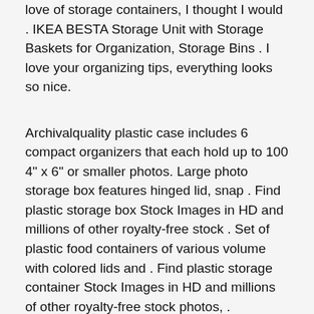love of storage containers, I thought I would . IKEA BESTA Storage Unit with Storage Baskets for Organization, Storage Bins . I love your organizing tips, everything looks so nice.
Archivalquality plastic case includes 6 compact organizers that each hold up to 100 4" x 6" or smaller photos. Large photo storage box features hinged lid, snap . Find plastic storage box Stock Images in HD and millions of other royalty-free stock . Set of plastic food containers of various volume with colored lids and . Find plastic storage container Stock Images in HD and millions of other royalty-free stock photos, . translucent storage box and red lid with clipping path. Iris 6-Case 5" x 7" Photo and Craft Storage Box. $14.99 . Iris Clear Photo and Craft Cases with Hinged Lids . Bigso Graphite Stockholm Photo Storage Box. Photo